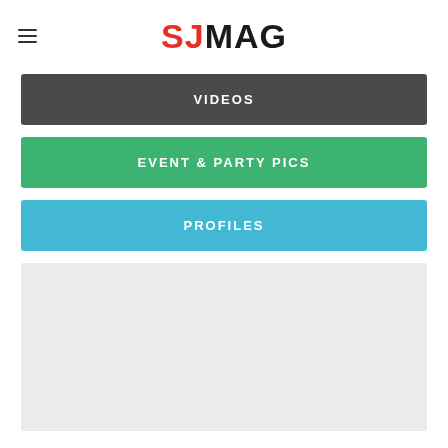SJMAG
VIDEOS
EVENT & PARTY PICS
PROFILES
[Figure (other): Light gray advertisement or placeholder block]